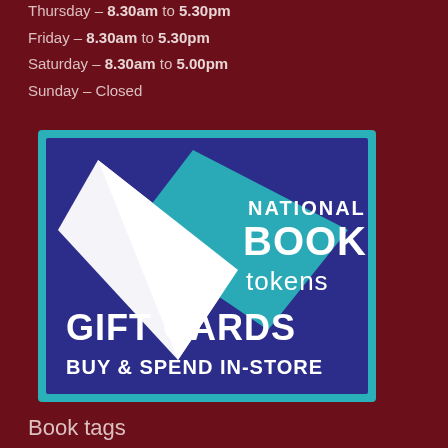Thursday – 8.30am to 5.30pm
Friday – 8.30am to 5.30pm
Saturday – 8.30am to 5.00pm
Sunday – Closed
[Figure (logo): National Book Tokens gift cards logo — blue/teal square logo with two overlapping book pages (white and teal) and text 'NATIONAL BOOK tokens GIFT CARDS BUY & SPEND IN-STORE' on dark blue background with teal border]
Book tags